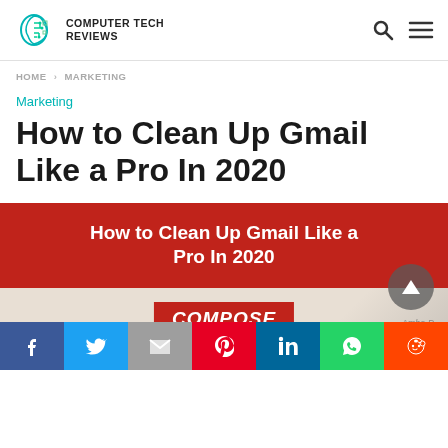COMPUTER TECH REVIEWS
HOME › MARKETING
Marketing
How to Clean Up Gmail Like a Pro In 2020
[Figure (infographic): Red banner with white bold text reading 'How to Clean Up Gmail Like a Pro In 2020']
[Figure (photo): Close-up photo of Gmail interface showing red COMPOSE button label]
[Figure (infographic): Social sharing bar with icons: Facebook, Twitter, Gmail (M), Pinterest, LinkedIn, WhatsApp, Reddit]